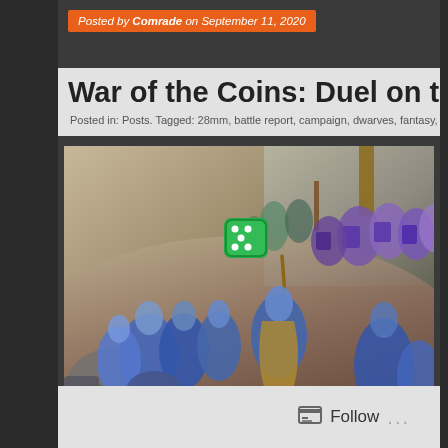Posted by Comrade on September 11, 2020
War of the Coins: Duel on the Bord
Posted in: Posts. Tagged: 28mm, battle report, campaign, dwarves, fantasy,
[Figure (photo): Tabletop wargame battle scene with painted miniatures. Blue-cloaked dwarf figures in the center and foreground, a banner bearer raising a spear, purple-shield troops in the upper right, a green six-sided die visible in the mid-left area, rubble and terrain pieces, and a skull token in the lower right corner.]
Follow